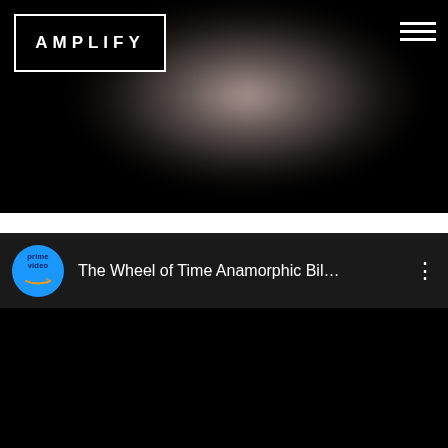[Figure (screenshot): AMPLIFY website header with dark background, a blurred anamorphic billboard or curved screen shape in center, AMPLIFY logo in white text with white border box top-left, hamburger menu icon top-right]
[Figure (screenshot): YouTube/video player embed showing Amazon Prime Video channel logo (blue circle) and video title 'The Wheel of Time Anamorphic Bil...' with three-dot menu on dark background]